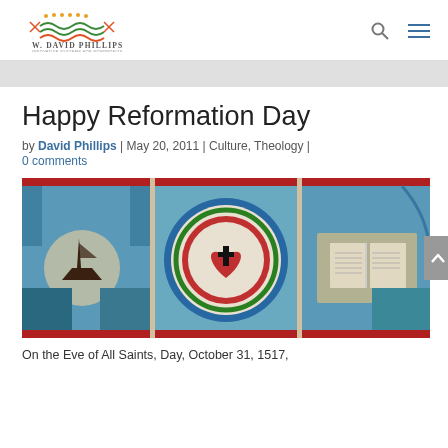[Figure (logo): W. David Phillips logo with decorative symbol and tagline 'Innovative Systems for Nonprofits']
Happy Reformation Day
by David Phillips | May 20, 2011 | Culture, Theology | 0 comments
[Figure (photo): Stained glass window depicting Luther's rose with a red heart and cross in the center, flanked by a ship on the left and an open Bible on the right, in blue and cream tones with red borders]
On the Eve of All Saints, Day, October 31, 1517,